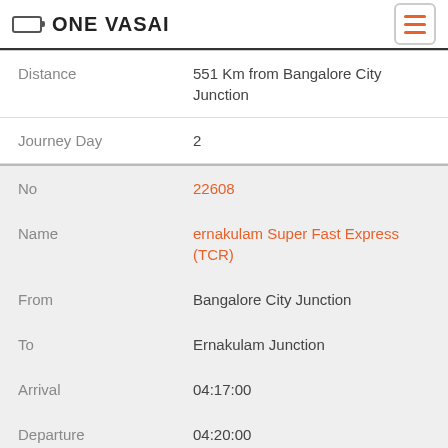ONE VASAI
| Field | Value |
| --- | --- |
| Distance | 551 Km from Bangalore City Junction |
| Journey Day | 2 |
| No | 22608 |
| Name | ernakulam Super Fast Express (TCR) |
| From | Bangalore City Junction |
| To | Ernakulam Junction |
| Arrival | 04:17:00 |
| Departure | 04:20:00 |
| DaysOfWeek | M |
| Halt Time | 3 Min |